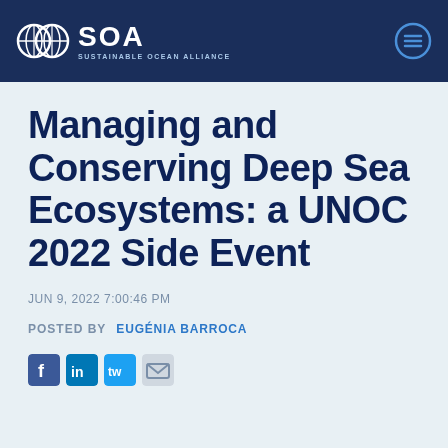SOA SUSTAINABLE OCEAN ALLIANCE
Managing and Conserving Deep Sea Ecosystems: a UNOC 2022 Side Event
JUN 9, 2022 7:00:46 PM
POSTED BY  EUGÉNIA BARROCA